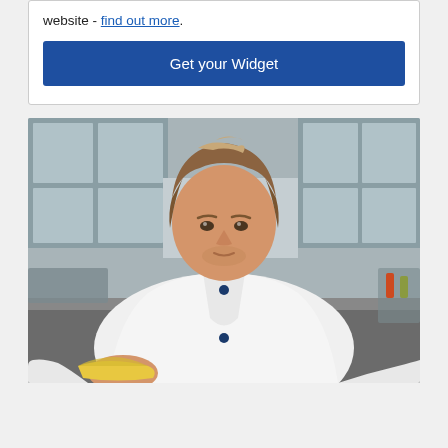website - find out more.
Get your Widget
[Figure (photo): A male chef in a white chef's uniform leaning over a surface, cleaning or wiping with a yellow cloth in a commercial kitchen.]